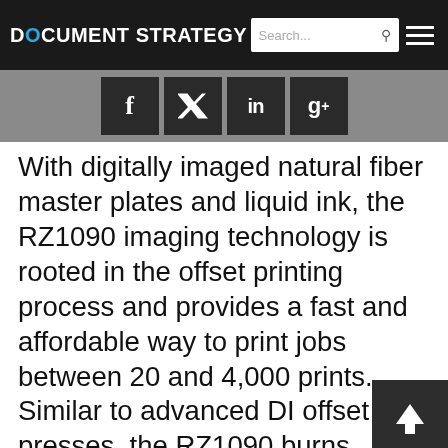DOCUMENT STRATEGY
[Figure (screenshot): Social media share icons: Facebook (f), Twitter (bird), LinkedIn (in), Google+ (g+) on dark backgrounds in a gray bar]
With digitally imaged natural fiber master plates and liquid ink, the RZ1090 imaging technology is rooted in the offset printing process and provides a fast and affordable way to print jobs between 20 and 4,000 prints. Similar to advanced DI offset presses, the RZ1090 burns, loads, and unloads masters automatically at the touch of a button, streamlining make-ready and maximizing machine availability for print production. With over seventy available ink colors and single color production costs as low as one-third of a cent per page, the RZ1090 is a production workhorse